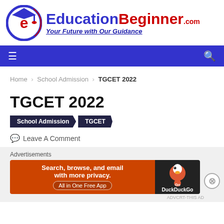[Figure (logo): EducationBeginner.com logo with graduation cap icon, tagline 'Your Future with Our Guidance']
Navigation bar with hamburger menu and search icon
Home › School Admission › TGCET 2022
TGCET 2022
School Admission
TGCET
Leave A Comment
Advertisements
[Figure (screenshot): DuckDuckGo advertisement banner: 'Search, browse, and email with more privacy. All in One Free App']